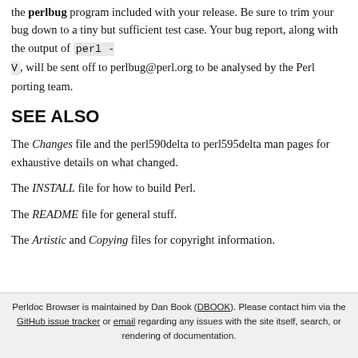the perlbug program included with your release. Be sure to trim your bug down to a tiny but sufficient test case. Your bug report, along with the output of perl -V, will be sent off to perlbug@perl.org to be analysed by the Perl porting team.
SEE ALSO
The Changes file and the perl590delta to perl595delta man pages for exhaustive details on what changed.
The INSTALL file for how to build Perl.
The README file for general stuff.
The Artistic and Copying files for copyright information.
Perldoc Browser is maintained by Dan Book (DBOOK). Please contact him via the GitHub issue tracker or email regarding any issues with the site itself, search, or rendering of documentation.